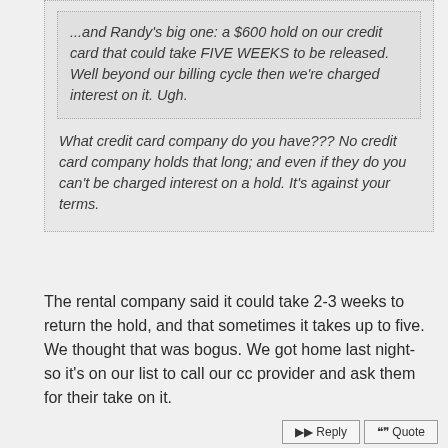...and Randy's big one: a $600 hold on our credit card that could take FIVE WEEKS to be released. Well beyond our billing cycle then we're charged interest on it. Ugh.
What credit card company do you have??? No credit card company holds that long; and even if they do you can't be charged interest on a hold. It's against your terms.
The rental company said it could take 2-3 weeks to return the hold, and that sometimes it takes up to five. We thought that was bogus. We got home last night- so it's on our list to call our cc provider and ask them for their take on it.